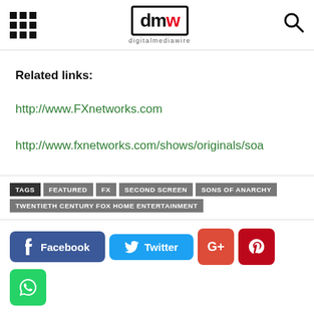digitalmediawire
Related links:
http://www.FXnetworks.com
http://www.fxnetworks.com/shows/originals/soa
TAGS  FEATURED  FX  SECOND SCREEN  SONS OF ANARCHY  TWENTIETH CENTURY FOX HOME ENTERTAINMENT
[Figure (other): Social share buttons: Facebook, Twitter, Google+, Pinterest, WhatsApp, Tweet]
Previous | Next